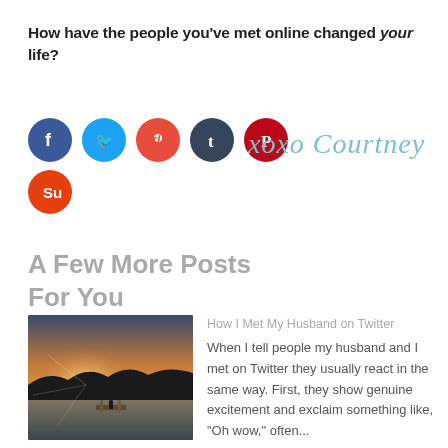How have the people you've met online changed your life?
[Figure (infographic): Social media sharing icons: Facebook (blue), Twitter (blue), Reddit (red/orange), Tumblr (dark blue), Pinterest (red), StumbleUpon (orange-red). Plus a cursive signature reading 'xoxo Courtney' in teal/light blue.]
A Few More Posts For You
[Figure (photo): Silhouette of a person standing on a dock at sunset/sunrise over a lake, with dramatic sky and tree line in the background.]
How I Met My Husband on Twitter
When I tell people my husband and I met on Twitter they usually react in the same way. First, they show genuine excitement and exclaim something like, "Oh wow," often...